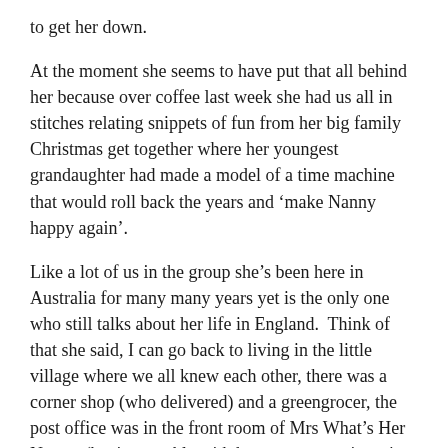to get her down.
At the moment she seems to have put that all behind her because over coffee last week she had us all in stitches relating snippets of fun from her big family Christmas get together where her youngest granddaughter had made a model of a time machine that would roll back the years and ‘make Nanny happy again’.
Like a lot of us in the group she’s been here in Australia for many many years yet is the only one who still talks about her life in England.  Think of that she said, I can go back to living in the little village where we all knew each other, there was a corner shop (who delivered) and a greengrocer, the post office was in the front room of Mrs What’s Her Names (having trouble with her memory at times is my friend 😊) Oh and lots of other good things I can’t quite think of at the moment.